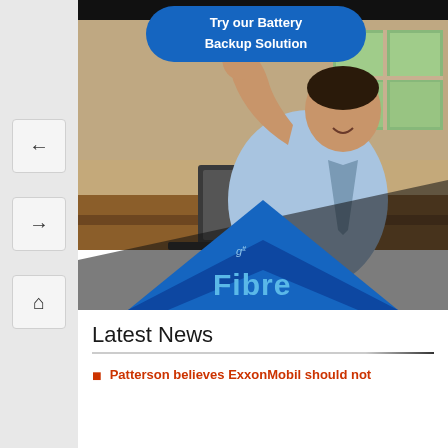[Figure (photo): GTT Fibre advertisement showing a man waving at a laptop in a home office setting. Blue bubble at top reads 'Try our Battery Backup Solution'. GTT Fibre logo overlaid at bottom with blue chevron/diamond shape.]
Latest News
Patterson believes ExxonMobil should not